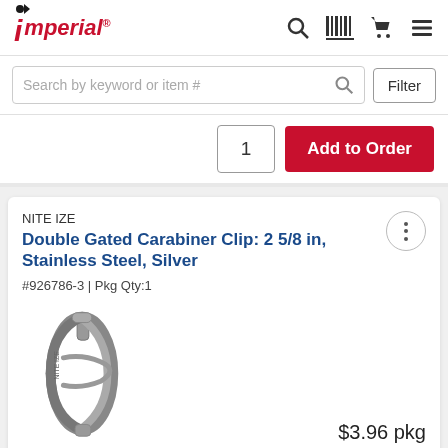Imperial
Search by keyword or item #
Filter
1 | Add to Order
NITE IZE
Double Gated Carabiner Clip: 2 5/8 in, Stainless Steel, Silver
#926786-3 | Pkg Qty:1
[Figure (photo): Silver stainless steel double gated carabiner clip, S-shaped with two gates]
$3.96 pkg